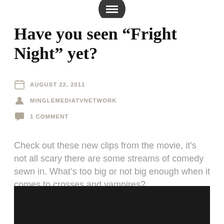[Figure (logo): Dark circular icon with horizontal lines (menu icon) at top center]
Have you seen “Fright Night” yet?
AUGUST 22, 2011
MINGLEMEDIATVNETWORK
1 COMMENT
Check out these new clips from the movie, it’s not all scary there are some streams of comedy sewn in. What’s too big or not big enough when it comes to crosses and vampires?
[Figure (screenshot): Black video player area at bottom of page]